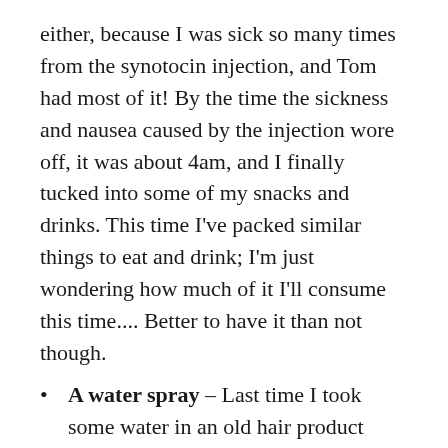either, because I was sick so many times from the synotocin injection, and Tom had most of it! By the time the sickness and nausea caused by the injection wore off, it was about 4am, and I finally tucked into some of my snacks and drinks. This time I've packed similar things to eat and drink; I'm just wondering how much of it I'll consume this time.... Better to have it than not though.
A water spray – Last time I took some water in an old hair product bottle with one of those spray tops on, as I'd heard it would be refreshing when I got all hot and sweaty. But again, because it happened quickly, and I was in the birth pool for the hardest part of